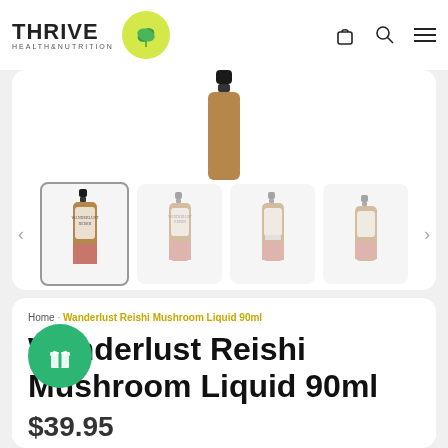[Figure (logo): Thrive Health & Nutrition logo with green leaf circle]
[Figure (photo): Product gallery showing Wanderlust Reishi Mushroom Liquid 90ml dropper bottles from multiple angles — one active thumbnail with border, three faded thumbnails]
Home · Wanderlust Reishi Mushroom Liquid 90ml
Wanderlust Reishi Mushroom Liquid 90ml
$39.95